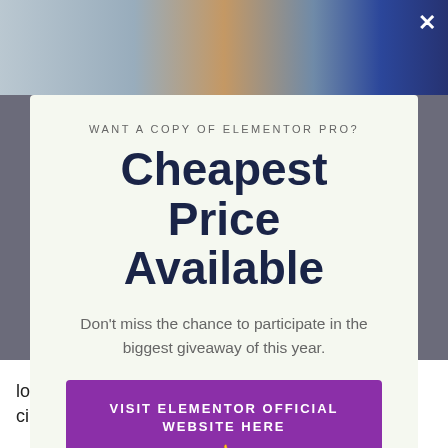[Figure (screenshot): Background webpage screenshot visible behind modal popup, showing blurred article content at top and bottom.]
WANT A COPY OF ELEMENTOR PRO?
Cheapest Price Available
Don't miss the chance to participate in the biggest giveaway of this year.
VISIT ELEMENTOR OFFICIAL WEBSITE HERE 👈
No thanks, I'm not interested!
look like when published (which is the basic circumstance with indigenous WordPress pages